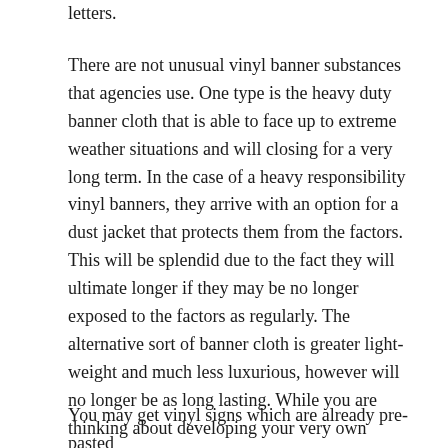letters.
There are not unusual vinyl banner substances that agencies use. One type is the heavy duty banner cloth that is able to face up to extreme weather situations and will closing for a very long term. In the case of a heavy responsibility vinyl banners, they arrive with an option for a dust jacket that protects them from the factors. This will be splendid due to the fact they will ultimate longer if they may be no longer exposed to the factors as regularly. The alternative sort of banner cloth is greater light-weight and much less luxurious, however will no longer be as long lasting. While you are thinking about developing your very own pictures or printing up your very own signal making gear, you need to understand what forms of portraits and substances are to be had for vinyl signs.
You may get vinyl signs which are already pre-pasted